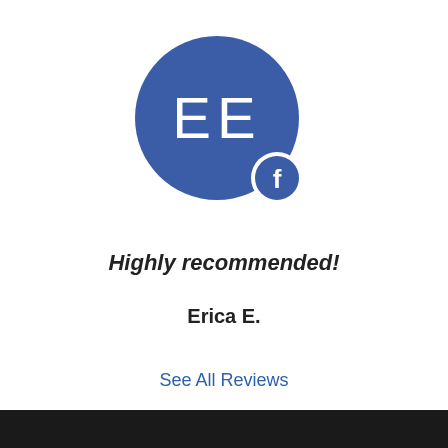[Figure (illustration): Circular avatar with initials 'EE' on a blue/indigo background, with a small Facebook icon badge at the bottom right of the circle]
Highly recommended!
Erica E.
See All Reviews